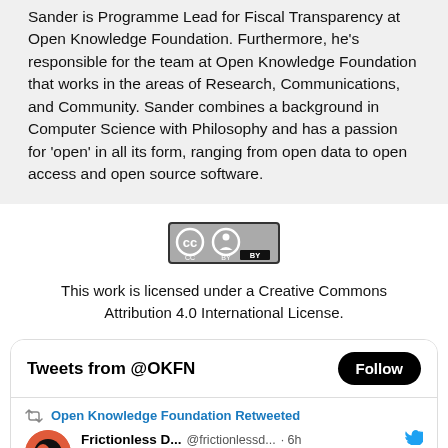Sander is Programme Lead for Fiscal Transparency at Open Knowledge Foundation. Furthermore, he's responsible for the team at Open Knowledge Foundation that works in the areas of Research, Communications, and Community. Sander combines a background in Computer Science with Philosophy and has a passion for 'open' in all its form, ranging from open data to open access and open source software.
[Figure (logo): Creative Commons BY license badge — grey rectangle with CC and person icons and 'BY' text]
This work is licensed under a Creative Commons Attribution 4.0 International License.
[Figure (screenshot): Twitter widget showing 'Tweets from @OKFN' header with Follow button, and a retweet from Open Knowledge Foundation of Frictionless D... @frictionlessd... 6h: 'Have you ever wondered how to use #FrictionlessData for your #Research data?']